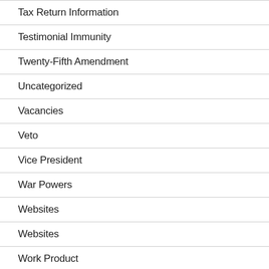Tax Return Information
Testimonial Immunity
Twenty-Fifth Amendment
Uncategorized
Vacancies
Veto
Vice President
War Powers
Websites
Websites
Work Product